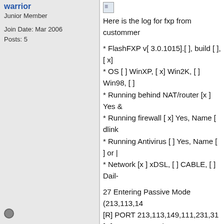warrior
Junior Member
Join Date: Mar 2006
Posts: 5
Here is the log for fxp from custommer
* FlashFXP v[ 3.0.1015].[ ], build [ ], [ x]
* OS [ ] WinXP, [ x] Win2K, [ ] Win98, [ ]
* Running behind NAT/router [x ] Yes &
* Running firewall [ x] Yes, Name [ dlink
* Running Antivirus [ ] Yes, Name [ ] or |
* Network [x ] xDSL, [ ] CABLE, [ ] Dail-
27 Entering Passive Mode (213,113,14
[R] PORT 213,113,149,111,231,31
[R] 504 Command not implemented for
[L] 421 No Transfer Timeout (300 secon
[L] Connection lost:
[R] Transfer Failed! XXXX
1 File failed to transfer
Server Error, Aborted